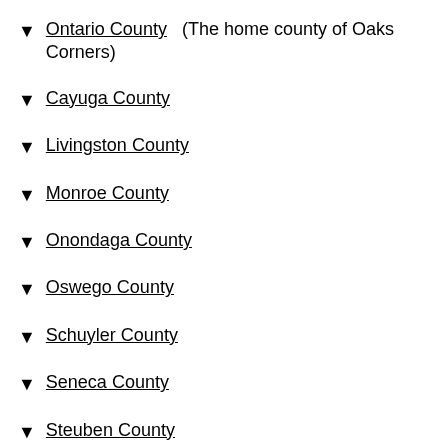▼ Ontario County (The home county of Oaks Corners)
▼ Cayuga County
▼ Livingston County
▼ Monroe County
▼ Onondaga County
▼ Oswego County
▼ Schuyler County
▼ Seneca County
▼ Steuben County
▼ Tompkins County
▼ Wayne County (partial, cut off)